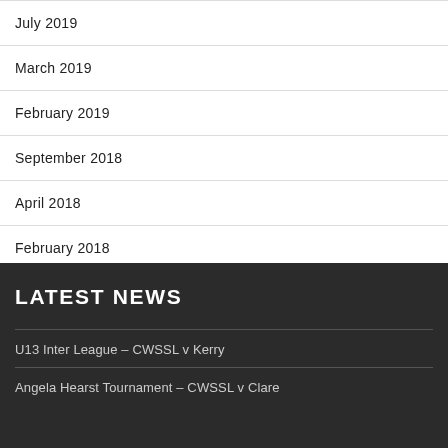July 2019
March 2019
February 2019
September 2018
April 2018
February 2018
LATEST NEWS
U13 Inter League – CWSSL v Kerry
Angela Hearst Tournament – CWSSL v Clare